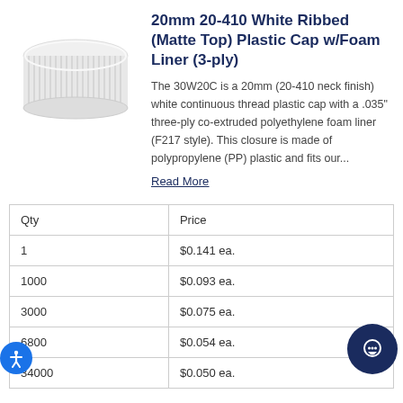20mm 20-410 White Ribbed (Matte Top) Plastic Cap w/Foam Liner (3-ply)
[Figure (photo): White ribbed plastic cap with matte top, viewed from a slight angle showing the top and side ribbing]
The 30W20C is a 20mm (20-410 neck finish) white continuous thread plastic cap with a .035" three-ply co-extruded polyethylene foam liner (F217 style). This closure is made of polypropylene (PP) plastic and fits our...
Read More
| Qty | Price |
| --- | --- |
| 1 | $0.141 ea. |
| 1000 | $0.093 ea. |
| 3000 | $0.075 ea. |
| 6800 | $0.054 ea. |
| 34000 | $0.050 ea. |